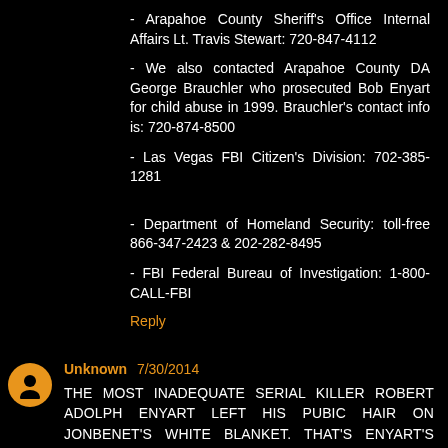- Arapahoe County Sheriff's Office Internal Affairs Lt. Travis Stewart: 720-847-4112
- We also contacted Arapahoe County DA George Brauchler who prosecuted Bob Enyart for child abuse in 1999. Brauchler's contact info is: 720-874-8500
- Las Vegas FBI Citizen's Division: 702-385-1281
- Department of Homeland Security: toll-free 866-347-2423 & 202-282-8495
- FBI Federal Bureau of Investigation: 1-800-CALL-FBI
Reply
Unknown 7/30/2014
THE MOST INADEQUATE SERIAL KILLER ROBERT ADOLPH ENYART LEFT HIS PUBIC HAIR ON JONBENET'S WHITE BLANKET. THAT'S ENYART'S SHOE PRINT ON THE FLOOR AND HIS PALM PRINT ON THE DOOR TO THE ROOM WHERE ENYART GARROTED JONBENET